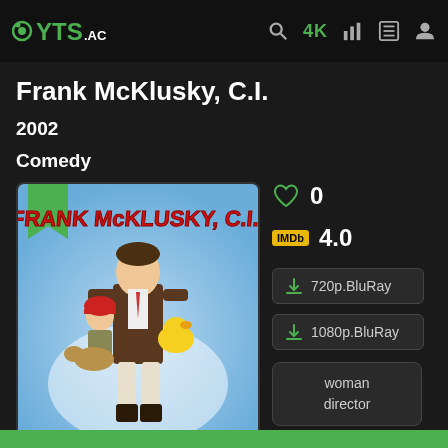YTS.AC — navigation header with search, 4K, chart, list, and user icons
Frank McKlusky, C.I.
2002
Comedy
[Figure (photo): Movie poster for Frank McKlusky C.I. showing a man in a suit holding a rubber duck and a child dressed as a firefighter with a dog]
0
IMDb 4.0
720p.BluRay
1080p.BluRay
woman director